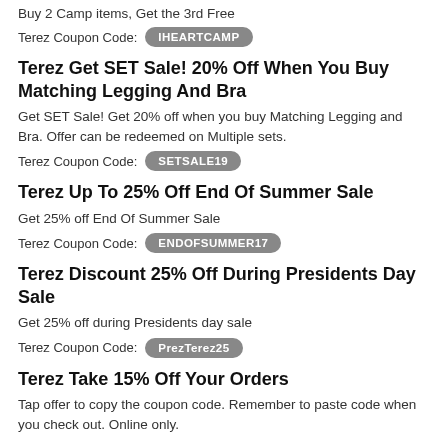Buy 2 Camp items, Get the 3rd Free
Terez Coupon Code: IHEARTCAMP
Terez Get SET Sale! 20% Off When You Buy Matching Legging And Bra
Get SET Sale! Get 20% off when you buy Matching Legging and Bra. Offer can be redeemed on Multiple sets.
Terez Coupon Code: SETSALE19
Terez Up To 25% Off End Of Summer Sale
Get 25% off End Of Summer Sale
Terez Coupon Code: ENDOFSUMMER17
Terez Discount 25% Off During Presidents Day Sale
Get 25% off during Presidents day sale
Terez Coupon Code: PrezTerez25
Terez Take 15% Off Your Orders
Tap offer to copy the coupon code. Remember to paste code when you check out. Online only.